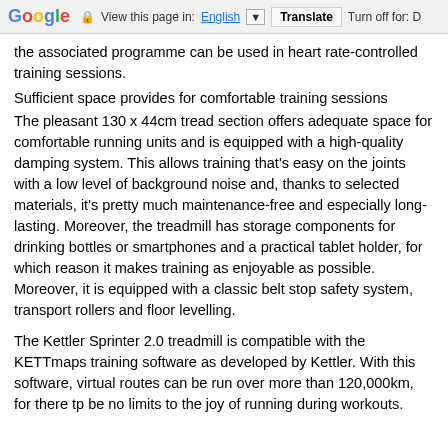Google  View this page in: English ▼  Translate  Turn off for: D
the associated programme can be used in heart rate-controlled training sessions.
Sufficient space provides for comfortable training sessions
The pleasant 130 x 44cm tread section offers adequate space for comfortable running units and is equipped with a high-quality damping system. This allows training that's easy on the joints with a low level of background noise and, thanks to selected materials, it's pretty much maintenance-free and especially long-lasting. Moreover, the treadmill has storage components for drinking bottles or smartphones and a practical tablet holder, for which reason it makes training as enjoyable as possible. Moreover, it is equipped with a classic belt stop safety system, transport rollers and floor levelling.
The Kettler Sprinter 2.0 treadmill is compatible with the KETTmaps training software as developed by Kettler. With this software, virtual routes can be run over more than 120,000km, for there tp be no limits to the joy of running during workouts.